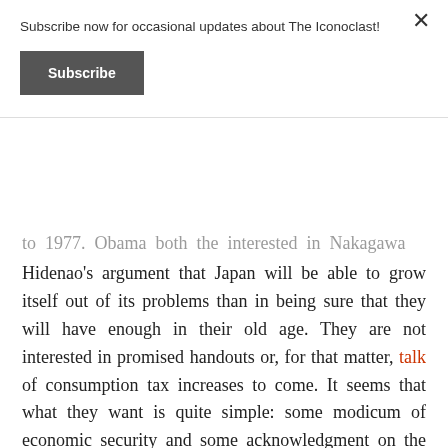Subscribe now for occasional updates about The Iconoclast!
Subscribe
Hidenao’s argument that Japan will be able to grow itself out of its problems than in being sure that they will have enough in their old age. They are not interested in promised handouts or, for that matter, talk of consumption tax increases to come. It seems that what they want is quite simple: some modicum of economic security and some acknowledgment on the part of the government that things have gone horribly astray, that the quality of life is withering. They will not be comforted by Mr. Aso’s pep talks concerning the “latest results” of Japan or the DPJ’s promises to …